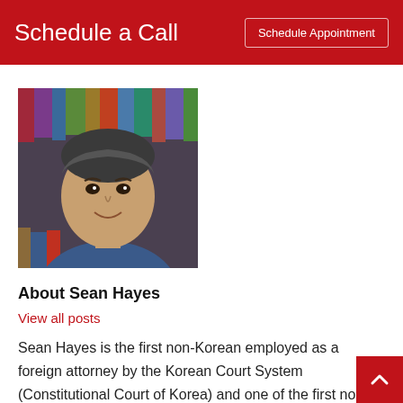Schedule a Call
[Figure (photo): Headshot of Sean Hayes, a man with dark hair smiling, seated in front of bookshelves]
About Sean Hayes
View all posts
Sean Hayes is the first non-Korean employed as a foreign attorney by the Korean Court System (Constitutional Court of Korea) and one of the first non-Koreans to be a full-time regular member of a Korean law faculty. He is rated a Top Attorney by numerous legal rating agenc… and is known for his street-smart advice, candor and